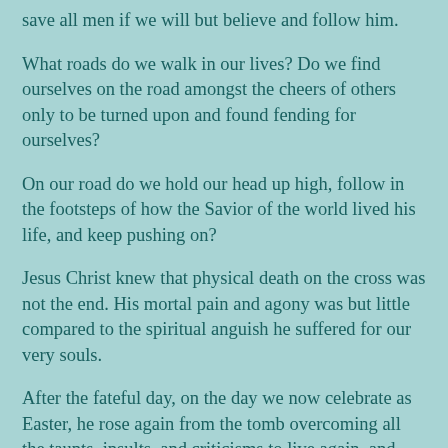save all men if we will but believe and follow him.
What roads do we walk in our lives? Do we find ourselves on the road amongst the cheers of others only to be turned upon and found fending for ourselves?
On our road do we hold our head up high, follow in the footsteps of how the Savior of the world lived his life, and keep pushing on?
Jesus Christ knew that physical death on the cross was not the end. His mortal pain and agony was but little compared to the spiritual anguish he suffered for our very souls.
After the fateful day, on the day we now celebrate as Easter, he rose again from the tomb overcoming all the taunts, insults, and criticisms to live again–and forever!
As we all go on and the road that life…